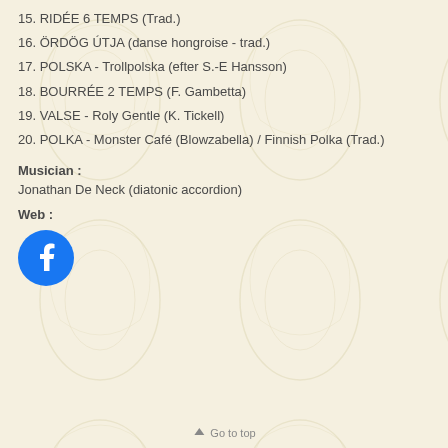15. RIDÉE 6 TEMPS (Trad.)
16. ÖRDÖG ÚTJA (danse hongroise - trad.)
17. POLSKA - Trollpolska (efter S.-E Hansson)
18. BOURRÉE 2 TEMPS (F. Gambetta)
19. VALSE - Roly Gentle (K. Tickell)
20. POLKA - Monster Café (Blowzabella) / Finnish Polka (Trad.)
Musician :
Jonathan De Neck (diatonic accordion)
Web :
[Figure (logo): Facebook logo - blue circle with white lowercase f]
Go to top